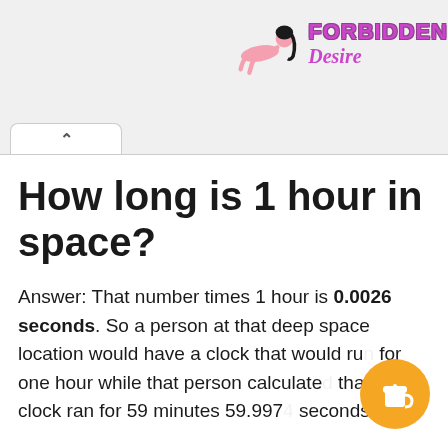[Figure (logo): Forbidden Desire logo with stylized female figure and purple text]
How long is 1 hour in space?
Answer: That number times 1 hour is 0.0026 seconds. So a person at that deep space location would have a clock that would run for one hour while that person calculated that our clock ran for 59 minutes 59.997... seconds.